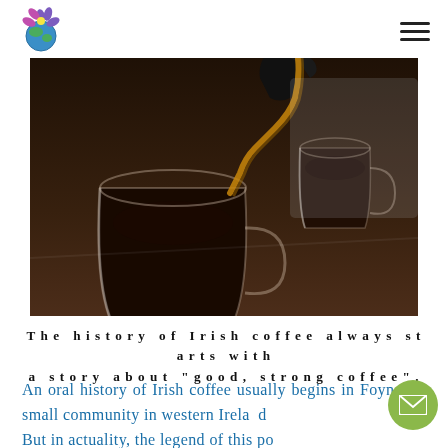[Figure (logo): Website logo: colorful flower/plant with globe icon]
[Figure (photo): Coffee being poured from a glass carafe into a clear glass coffee cup on a dark table, with a second cup of black coffee in the background]
The history of Irish coffee always starts with a story about "good, strong coffee".
An oral history of Irish coffee usually begins in Foynes, a small community in western Ireland. But in actuality, the legend of this popular cocktail wraps around the world, from Dublin to